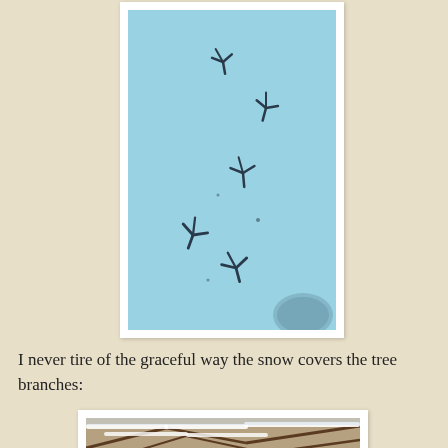[Figure (photo): Bird footprints/tracks in blue-white snow, multiple star-shaped prints scattered across the frame, some with a small partial round object visible at bottom right]
I never tire of the graceful way the snow covers the tree branches:
[Figure (photo): Snow-covered tree branches, closely tangled bare branches dusted with white snow, viewed from below or at eye level]